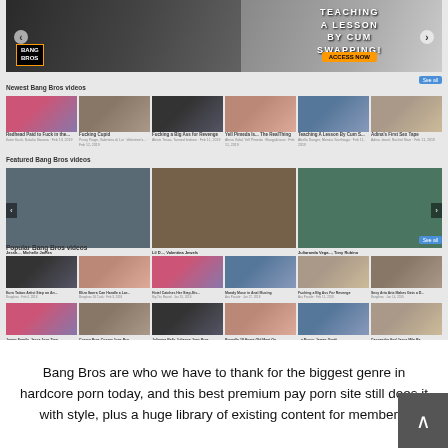[Figure (screenshot): Screenshot of Bang Bros adult video website showing banner ad at top with text 'TEACHING A LESSON BY CUM SWAPPING! ACCESS NOW', followed by three video grid sections labeled 'Newest Bang Bros videos', 'Featured Bang Bros videos', and 'Popular Bang Bros videos', each containing thumbnail images of adult content with titles and metadata underneath.]
Bang Bros are who we have to thank for the biggest genre in hardcore porn today, and this best premium pay porn site still does it with style, plus a huge library of existing content for members.